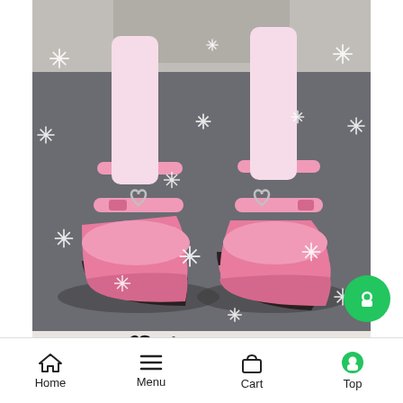[Figure (photo): Pink platform wedge shoes with double heart buckle ankle straps displayed on a person's feet against a grey carpet background with decorative white snowflake overlay graphics. Brand: GIGIFOX shown in brand bar below.]
Home   Menu   Cart   Top